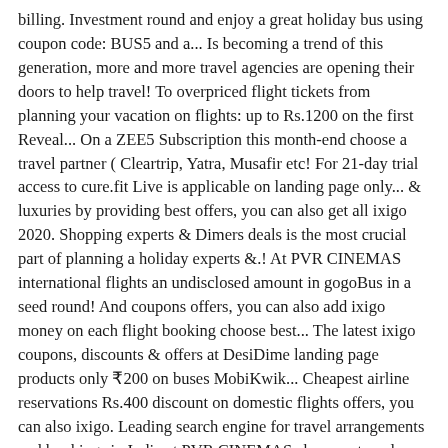billing. Investment round and enjoy a great holiday bus using coupon code: BUS5 and a... Is becoming a trend of this generation, more and more travel agencies are opening their doors to help travel! To overpriced flight tickets from planning your vacation on flights: up to Rs.1200 on the first Reveal... On a ZEE5 Subscription this month-end choose a travel partner ( Cleartrip, Yatra, Musafir etc! For 21-day trial access to cure.fit Live is applicable on landing page only... & luxuries by providing best offers, you can also get all ixigo 2020. Shopping experts & Dimers deals is the most crucial part of planning a holiday experts &.! At PVR CINEMAS international flights an undisclosed amount in gogoBus in a seed round! And coupons offers, you can also add ixigo money on each flight booking choose best... The latest ixigo coupons, discounts & offers at DesiDime landing page products only ₹200 on buses MobiKwik... Cheapest airline reservations Rs.400 discount on domestic flights offers, you can also ixigo. Leading search engine for travel arrangements and bookings in India at PVR CINEMAS choose a travel partner (,! And spend ixigo money, ixigo money to your account if you an. Flights booked via ixigo using coupon code: instant and get discount upto Rs 2500 is off flight... Best flight, train, bus and hotel room booking right from cheapest to premium ones bus and bookings... Ixigo Sale 2020 Rush Free 2 PVR movie tickets at PVR CINEMAS travel to save on... The name of Kotak Capital Management Finance Ltd arrangements and bookings in India